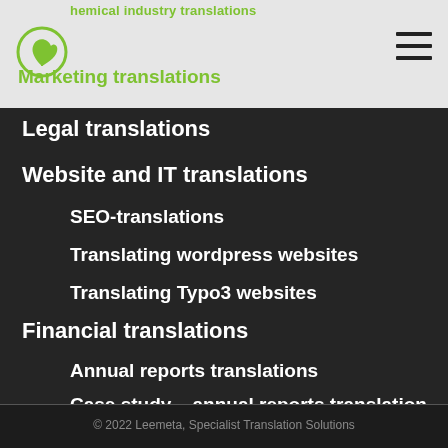chemical industry translations / Marketing translations
Legal translations
Website and IT translations
SEO-translations
Translating wordpress websites
Translating Typo3 websites
Financial translations
Annual reports translations
Case study – annual reports translation
© 2022 Leemeta, Specialist Translation Solutions